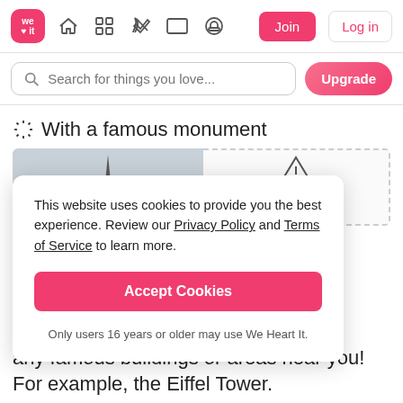[Figure (screenshot): We Heart It website navigation bar with logo, icons, Join and Log in buttons]
[Figure (screenshot): Search bar with placeholder 'Search for things you love...' and Upgrade button]
✳ With a famous monument
[Figure (photo): Eiffel Tower photo (left) and a placeholder with 'Post removed by creator' warning (right)]
This website uses cookies to provide you the best experience. Review our Privacy Policy and Terms of Service to learn more.
Accept Cookies
Only users 16 years or older may use We Heart It.
any famous buildings or areas near you! For example, the Eiffel Tower.